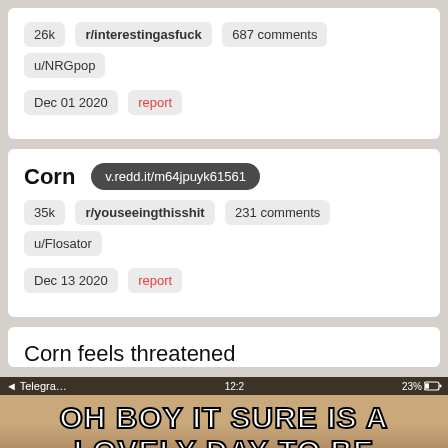26k  r/interestingasfuck  687 comments  u/NRGpop
Dec 01 2020  report
Corn
v.redd.it/m64jpuyk61561
35k  r/youseeingthisshit  231 comments  u/Flosator
Dec 13 2020  report
Corn feels threatened
[Figure (screenshot): Screenshot of a meme video with white Impact bold text on a landscape background reading 'OH BOY IT SURE IS A LOVELY DAY TO BE' with a phone status bar showing Telegram, time 12:2, and 23% battery]